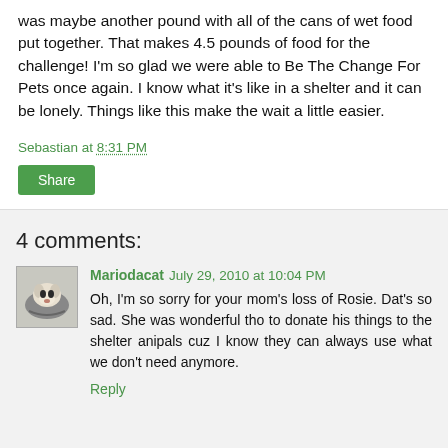was maybe another pound with all of the cans of wet food put together. That makes 4.5 pounds of food for the challenge! I'm so glad we were able to Be The Change For Pets once again. I know what it's like in a shelter and it can be lonely. Things like this make the wait a little easier.
Sebastian at 8:31 PM
Share
4 comments:
Mariodacat July 29, 2010 at 10:04 PM
Oh, I'm so sorry for your mom's loss of Rosie. Dat's so sad. She was wonderful tho to donate his things to the shelter anipals cuz I know they can always use what we don't need anymore.
Reply